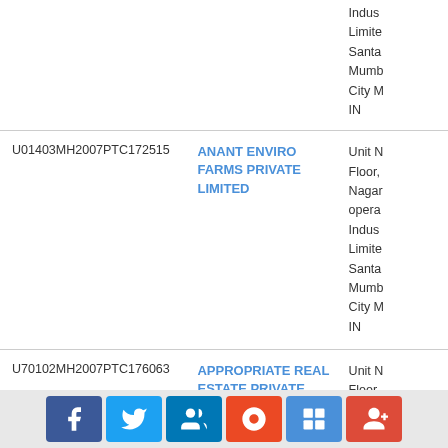| CIN | Company Name | Registered Address |
| --- | --- | --- |
|  |  | Indus...
Limite...
Santa...
Mumb...
City M...
IN |
| U01403MH2007PTC172515 | ANANT ENVIRO FARMS PRIVATE LIMITED | Unit N...
Floor,...
Nagar...
opera...
Indus...
Limite...
Santa...
Mumb...
City M...
IN |
| U70102MH2007PTC176063 | APPROPRIATE REAL ESTATE PRIVATE LIMITED | Unit N...
Floor,...
Nagar... |